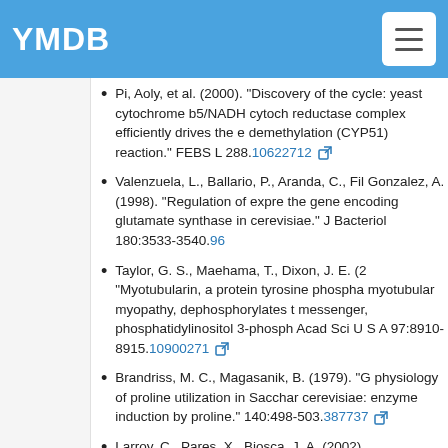YMDB
cycle: yeast cytochrome b5/NADH cytochrome reductase complex efficiently drives the demethylation (CYP51) reaction." FEBS L 288.10622712
Valenzuela, L., Ballario, P., Aranda, C., Fil... Gonzalez, A. (1998). "Regulation of expression the gene encoding glutamate synthase in cerevisiae." J Bacteriol 180:3533-3540.96...
Taylor, G. S., Maehama, T., Dixon, J. E. (2... "Myotubularin, a protein tyrosine phospha myotubular myopathy, dephosphorylates t messenger, phosphatidylinositol 3-phosp Acad Sci U S A 97:8910-8915.10900271
Brandriss, M. C., Magasanik, B. (1979). "G physiology of proline utilization in Sacchar cerevisiae: enzyme induction by proline." 140:498-503.387737
Larroy, C., Pares, X., Biosca, J. A. (2002). "Characterization of a Saccharomyces ce NADR(H)-dependent alcohol dehydrogena